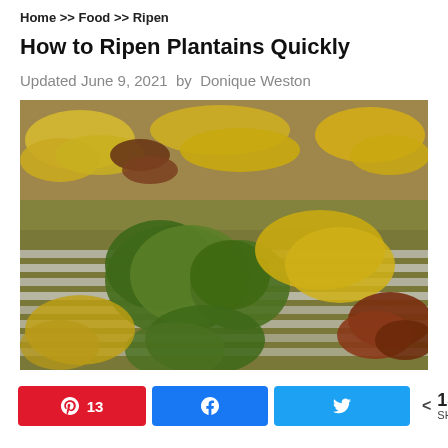Home >> Food >> Ripen
How to Ripen Plantains Quickly
Updated June 9, 2021 by Donique Weston
[Figure (photo): Various bunches of plantains and bananas in green, yellow, and red/brown colors laid out on a white slatted surface at a market.]
13  [Pinterest share button]  [Facebook share button]  [Twitter share button]  < 13 SHARES